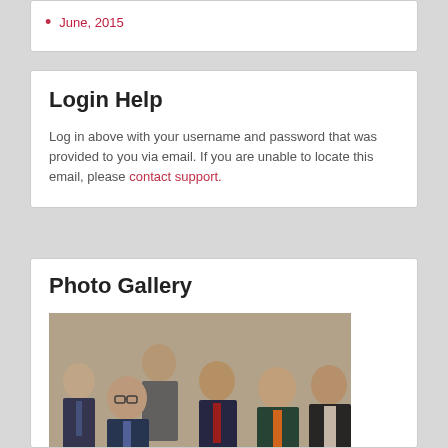June, 2015
Login Help
Log in above with your username and password that was provided to you via email. If you are unable to locate this email, please contact support.
Photo Gallery
[Figure (photo): Group photo of six men in formal attire standing together indoors]